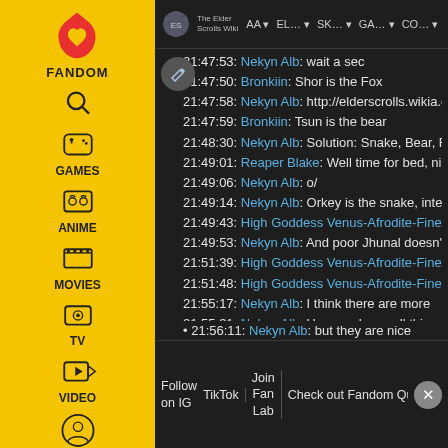[Figure (screenshot): Fandom wiki sidebar with logo, GAMES, ANIME, MOVIES, TV, VIDEO navigation icons on yellow background]
The Elder Scrolls Wiki | AA | EL... | SK... | GA... | CO...
21:47:53: Nekyn Alb: wait a sec
21:47:50: Bronkiin: Shor is the Fox
21:47:58: Nekyn Alb: http://elderscrolls.wikia.c
21:47:59: Bronkiin: Tsun is the bear
21:48:30: Nekyn Alb: Solution: Snake, Bear, Fo
21:49:01: Reaper Blake: Well time for bed, nice
21:49:06: Nekyn Alb: o/
21:49:14: Nekyn Alb: Orkey is the snake, intere
21:49:43: High Goddess Venus-Afrodite-Fineli
21:49:53: Nekyn Alb: And poor Jhunal doesn't
21:51:39: High Goddess Venus-Afrodite-Finelia
21:51:48: High Goddess Venus-Afrodite-Finelia
21:55:17: Nekyn Alb: I think there are more
21:55:31: Nekyn Alb: He even has wall things
Follow on IG | TikTok | Join Fan Lab | Check out Fandom Quizzes and cha
21:56:11: Nekyn Alb: but they are nice